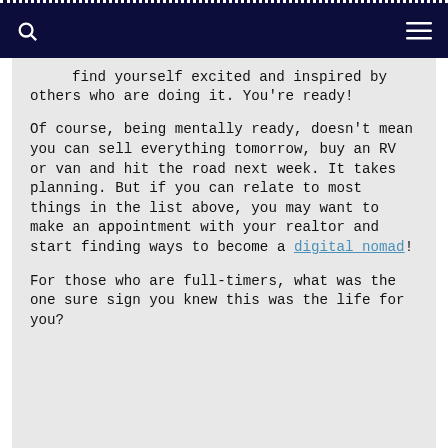find yourself excited and inspired by others who are doing it. You're ready!
Of course, being mentally ready, doesn't mean you can sell everything tomorrow, buy an RV or van and hit the road next week. It takes planning. But if you can relate to most things in the list above, you may want to make an appointment with your realtor and start finding ways to become a digital nomad!
For those who are full-timers, what was the one sure sign you knew this was the life for you?